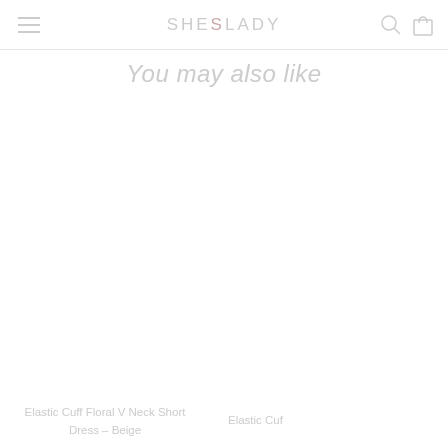SHESLADY
You may also like
Elastic Cuff Floral V Neck Short Dress – Beige
Elastic Cuf